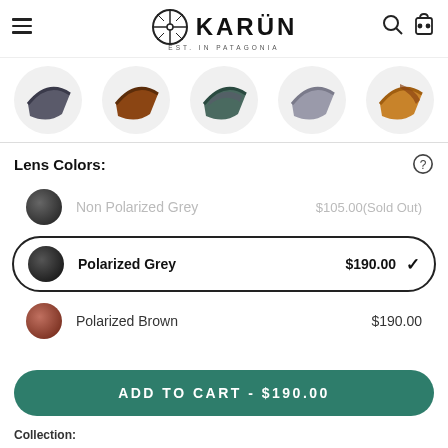[Figure (logo): Karün brand logo with circular crosshair icon and text KARÜN EST. IN PATAGONIA]
[Figure (photo): Row of 5 sunglass lens thumbnails in circular frames: dark grey, brown, teal/green, light grey, and brown-gold]
Lens Colors:
Non Polarized Grey   $105.00(Sold Out)
Polarized Grey   $190.00  ✓
Polarized Brown   $190.00
ADD TO CART - $190.00
Collection: